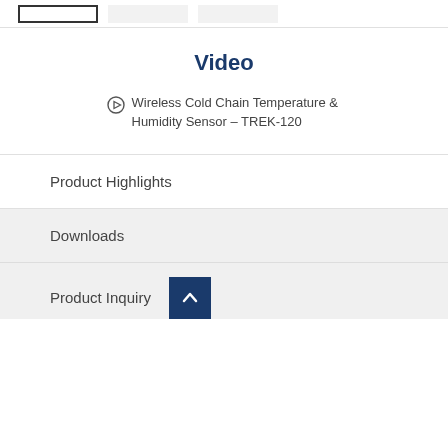[Figure (screenshot): Top navigation tab bar with three tab boxes (one outlined, two filled light gray)]
Video
Wireless Cold Chain Temperature & Humidity Sensor – TREK-120
Product Highlights
Downloads
Product Inquiry